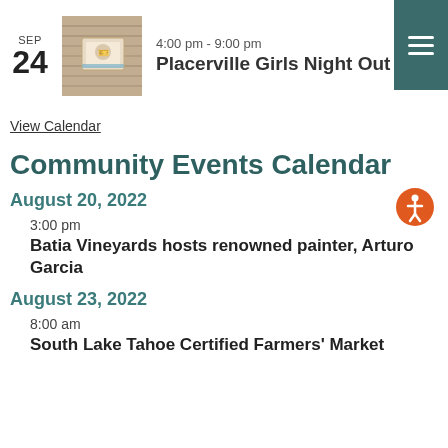SEP 24 | 4:00 pm - 9:00 pm | Placerville Girls Night Out
View Calendar
Community Events Calendar
August 20, 2022
3:00 pm
Batia Vineyards hosts renowned painter, Arturo Garcia
August 23, 2022
8:00 am
South Lake Tahoe Certified Farmers' Market